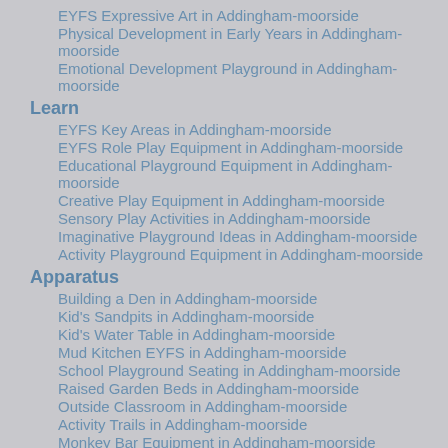EYFS Expressive Art in Addingham-moorside
Physical Development in Early Years in Addingham-moorside
Emotional Development Playground in Addingham-moorside
Learn
EYFS Key Areas in Addingham-moorside
EYFS Role Play Equipment in Addingham-moorside
Educational Playground Equipment in Addingham-moorside
Creative Play Equipment in Addingham-moorside
Sensory Play Activities in Addingham-moorside
Imaginative Playground Ideas in Addingham-moorside
Activity Playground Equipment in Addingham-moorside
Apparatus
Building a Den in Addingham-moorside
Kid's Sandpits in Addingham-moorside
Kid's Water Table in Addingham-moorside
Mud Kitchen EYFS in Addingham-moorside
School Playground Seating in Addingham-moorside
Raised Garden Beds in Addingham-moorside
Outside Classroom in Addingham-moorside
Activity Trails in Addingham-moorside
Monkey Bar Equipment in Addingham-moorside
Outdoor Calisthenics Equipment in Addingham-moorside